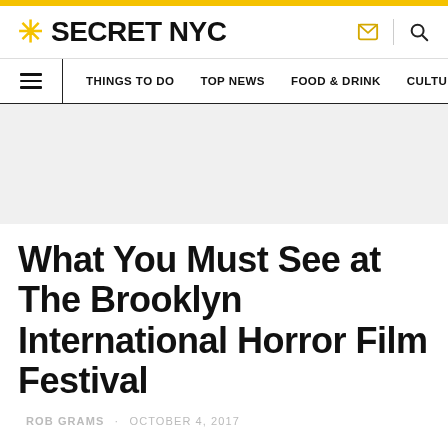SECRET NYC
THINGS TO DO · TOP NEWS · FOOD & DRINK · CULTURE
What You Must See at The Brooklyn International Horror Film Festival
ROB GRAMS · OCTOBER 4, 2017